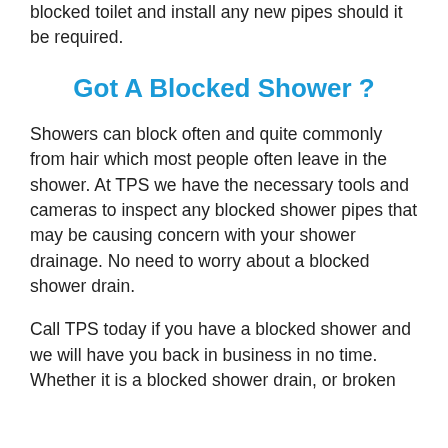blocked toilet and install any new pipes should it be required.
Got A Blocked Shower ?
Showers can block often and quite commonly from hair which most people often leave in the shower. At TPS we have the necessary tools and cameras to inspect any blocked shower pipes that may be causing concern with your shower drainage. No need to worry about a blocked shower drain.
Call TPS today if you have a blocked shower and we will have you back in business in no time. Whether it is a blocked shower drain, or broken shower pipes, we can fix it. We also have plumber